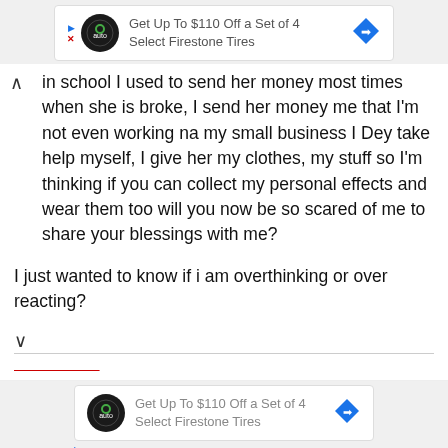[Figure (screenshot): Advertisement banner for Firestone tires: 'Get Up To $110 Off a Set of 4 Select Firestone Tires' with logo and arrow icon]
in school I used to send her money most times when she is broke, I send her money me that I'm not even working na my small business I Dey take help myself, I give her my clothes, my stuff so I'm thinking if you can collect my personal effects and wear them too will you now be so scared of me to share your blessings with me?
I just wanted to know if i am overthinking or over reacting?
[Figure (screenshot): Advertisement banner for Firestone tires (repeated): 'Get Up To $110 Off a Set of 4 Select Firestone Tires' with logo and arrow icon, with play and close controls]